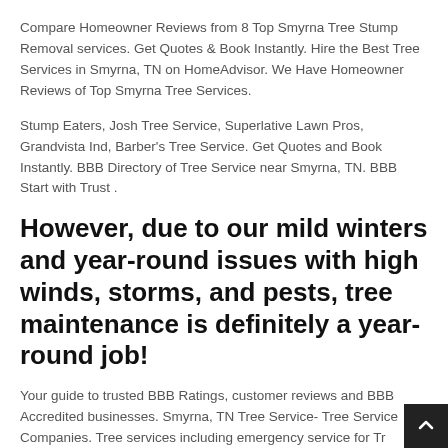Compare Homeowner Reviews from 8 Top Smyrna Tree Stump Removal services. Get Quotes & Book Instantly. Hire the Best Tree Services in Smyrna, TN on HomeAdvisor. We Have Homeowner Reviews of Top Smyrna Tree Services.
Stump Eaters, Josh Tree Service, Superlative Lawn Pros, Grandvista Ind, Barber's Tree Service. Get Quotes and Book Instantly. BBB Directory of Tree Service near Smyrna, TN. BBB Start with Trust .
However, due to our mild winters and year-round issues with high winds, storms, and pests, tree maintenance is definitely a year-round job!
Your guide to trusted BBB Ratings, customer reviews and BBB Accredited businesses. Smyrna, TN Tree Service- Tree Service Companies. Tree services including emergency service for Tree Removal, Trimming, Stump Grinding and more. Call us today